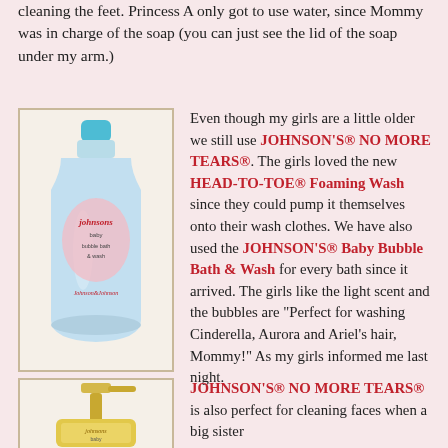cleaning the feet. Princess A only got to use water, since Mommy was in charge of the soap (you can just see the lid of the soap under my arm.)
[Figure (photo): Johnson's Baby Bubble Bath & Wash bottle in light blue color with pink label and blue cap]
Even though my girls are a little older we still use JOHNSON'S® NO MORE TEARS®. The girls loved the new HEAD-TO-TOE® Foaming Wash since they could pump it themselves onto their wash clothes. We have also used the JOHNSON'S® Baby Bubble Bath & Wash for every bath since it arrived. The girls like the light scent and the bubbles are "Perfect for washing Cinderella, Aurora and Ariel's hair, Mommy!" As my girls informed me last night.
[Figure (photo): Johnson's No More Tears pump dispenser bottle in yellow/gold color, partially visible]
JOHNSON'S® NO MORE TEARS® is also perfect for cleaning faces when a big sister